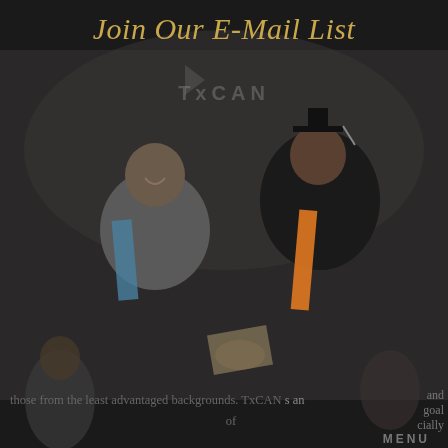Join Our E-Mail List
[Figure (photo): Two people in graduation regalia shaking hands at a commencement ceremony. One person wears an orange sash. TxCAN watermark visible in background.]
those from the least advantaged backgrounds. TxCAN s an of
Join the TxCAN email list today for the latest updates on our resources, trainings, and expert insights and solutions.
SIGN UP →
MENU